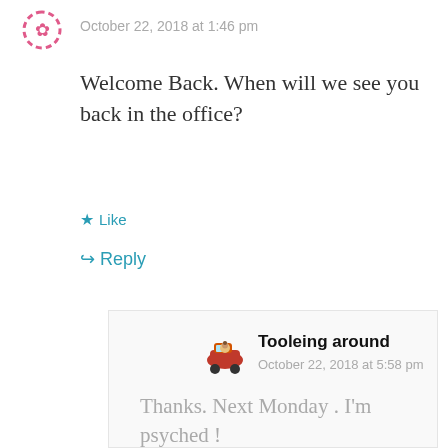October 22, 2018 at 1:46 pm
Welcome Back. When will we see you back in the office?
★ Like
↪ Reply
Tooleing around
October 22, 2018 at 5:58 pm
Thanks. Next Monday . I'm psyched !